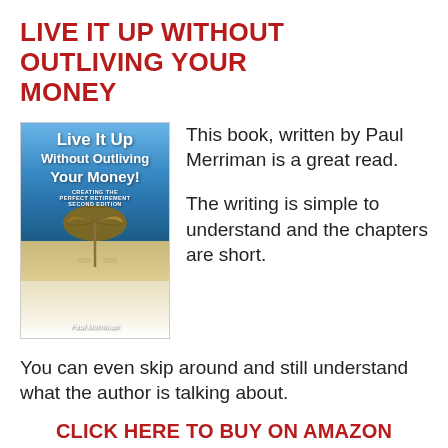LIVE IT UP WITHOUT OUTLIVING YOUR MONEY
[Figure (illustration): Book cover of 'Live It Up Without Outliving Your Money!' by Paul Merriman, showing a beach scene with a thatched umbrella, lounge chairs, and tropical water. Subtitle: Creating the Perfect Retirement, Second Edition.]
This book, written by Paul Merriman is a great read.
The writing is simple to understand and the chapters are short.
You can even skip around and still understand what the author is talking about.
CLICK HERE TO BUY ON AMAZON